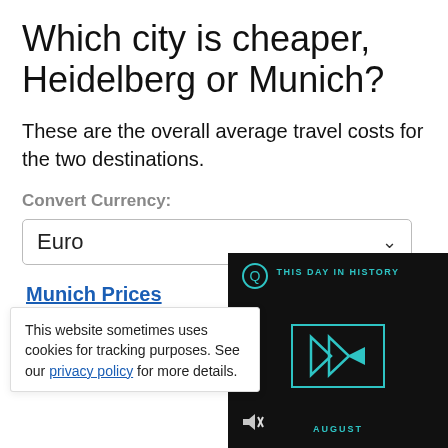Which city is cheaper, Heidelberg or Munich?
These are the overall average travel costs for the two destinations.
Convert Currency:
Euro
Munich Prices
Heidelberg Prices
This website sometimes uses cookies for tracking purposes. See our privacy policy for more details.